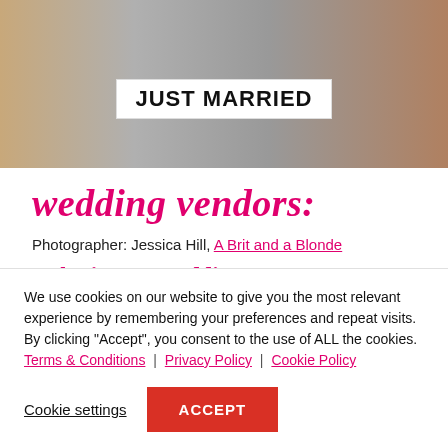[Figure (photo): Outdoor photo showing a white 'JUST MARRIED' banner/sign held up, with crowd barriers and people in background]
wedding vendors:
Photographer: Jessica Hill, A Brit and a Blonde
Submit your wedding or engagement.
We use cookies on our website to give you the most relevant experience by remembering your preferences and repeat visits. By clicking "Accept", you consent to the use of ALL the cookies. Terms & Conditions | Privacy Policy | Cookie Policy
Cookie settings | ACCEPT